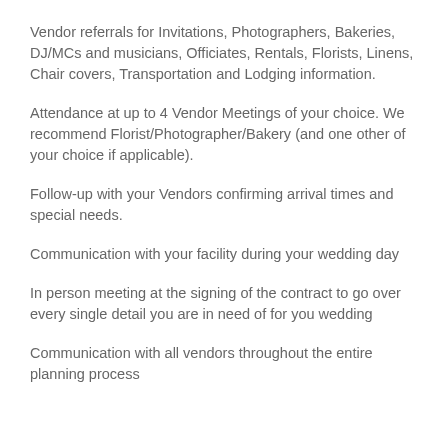Vendor referrals for Invitations, Photographers, Bakeries, DJ/MCs and musicians, Officiates, Rentals, Florists, Linens, Chair covers, Transportation and Lodging information.
Attendance at up to 4 Vendor Meetings of your choice. We recommend Florist/Photographer/Bakery (and one other of your choice if applicable).
Follow-up with your Vendors confirming arrival times and special needs.
Communication with your facility during your wedding day
In person meeting at the signing of the contract to go over every single detail you are in need of for you wedding
Communication with all vendors throughout the entire planning process